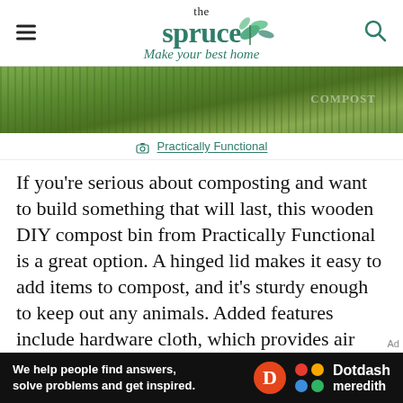the spruce – Make your best home
[Figure (photo): Outdoor photo showing grass and greenery, partially visible compost bin in background]
Practically Functional
If you're serious about composting and want to build something that will last, this wooden DIY compost bin from Practically Functional is a great option. A hinged lid makes it easy to add items to compost, and it's sturdy enough to keep out any animals. Added features include hardware cloth, which provides air circulation, and hinged access to the bottom of the bin to get out the finished compost.
We help people find answers, solve problems and get inspired. Dotdash meredith